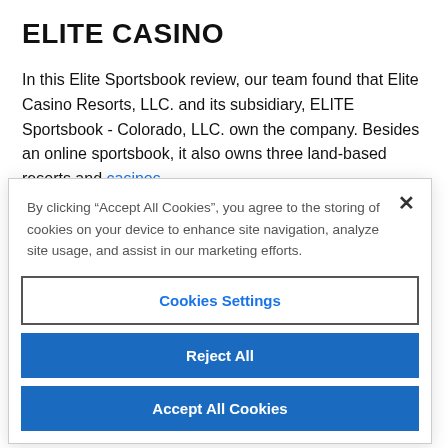ELITE CASINO
In this Elite Sportsbook review, our team found that Elite Casino Resorts, LLC. and its subsidiary, ELITE Sportsbook - Colorado, LLC. own the company. Besides an online sportsbook, it also owns three land-based resorts and casinos.
By clicking “Accept All Cookies”, you agree to the storing of cookies on your device to enhance site navigation, analyze site usage, and assist in our marketing efforts.
Cookies Settings
Reject All
Accept All Cookies